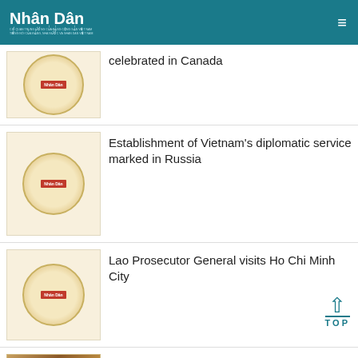Nhân Dân
celebrated in Canada
Establishment of Vietnam's diplomatic service marked in Russia
Lao Prosecutor General visits Ho Chi Minh City
60th anniversary of Vietnam-